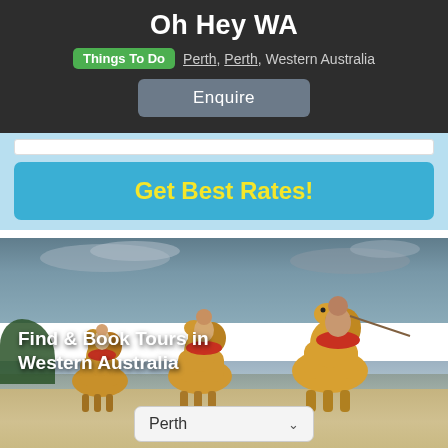Oh Hey WA
Things To Do  Perth, Perth, Western Australia
Enquire
Get Best Rates!
[Figure (photo): People riding camels on a beach in Western Australia at sunset with cloudy sky, showing a camel tour group with a child rider in front]
Find & Book Tours in Western Australia
Perth